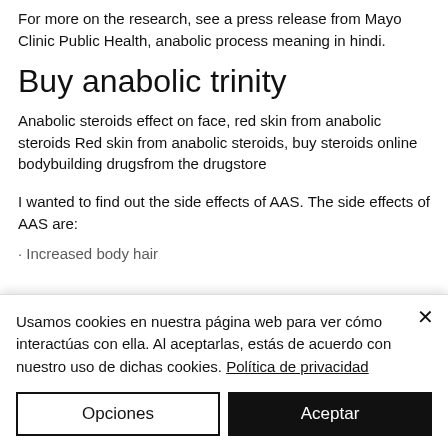For more on the research, see a press release from Mayo Clinic Public Health, anabolic process meaning in hindi.
Buy anabolic trinity
Anabolic steroids effect on face, red skin from anabolic steroids Red skin from anabolic steroids, buy steroids online bodybuilding drugsfrom the drugstore
I wanted to find out the side effects of AAS. The side effects of AAS are:
· Increased body hair
Usamos cookies en nuestra página web para ver cómo interactúas con ella. Al aceptarlas, estás de acuerdo con nuestro uso de dichas cookies. Política de privacidad
Opciones
Aceptar